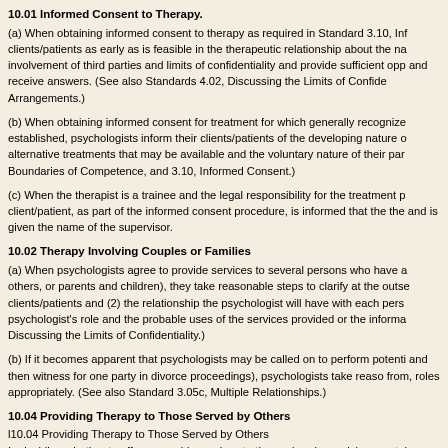10.01 Informed Consent to Therapy.
(a) When obtaining informed consent to therapy as required in Standard 3.10, Inf clients/patients as early as is feasible in the therapeutic relationship about the na involvement of third parties and limits of confidentiality and provide sufficient opp and receive answers. (See also Standards 4.02, Discussing the Limits of Confide Arrangements.)
(b) When obtaining informed consent for treatment for which generally recognize established, psychologists inform their clients/patients of the developing nature o alternative treatments that may be available and the voluntary nature of their par Boundaries of Competence, and 3.10, Informed Consent.)
(c) When the therapist is a trainee and the legal responsibility for the treatment p client/patient, as part of the informed consent procedure, is informed that the the and is given the name of the supervisor.
10.02 Therapy Involving Couples or Families
(a) When psychologists agree to provide services to several persons who have a others, or parents and children), they take reasonable steps to clarify at the outse clients/patients and (2) the relationship the psychologist will have with each pers psychologist's role and the probable uses of the services provided or the informa Discussing the Limits of Confidentiality.)
(b) If it becomes apparent that psychologists may be called on to perform potenti and then witness for one party in divorce proceedings), psychologists take reaso from, roles appropriately. (See also Standard 3.05c, Multiple Relationships.)
10.04 Providing Therapy to Those Served by Others
l10.04 Providing Therapy to Those Served by Others
In deciding whether to offer or provide services to those already receiving mental carefully consider the treatment issues and the potential client's/patient's welfare client/patient or another legally authorized person on behalf of the client/patient i conflict, consult with the other service providers when appropriate, and proceed w